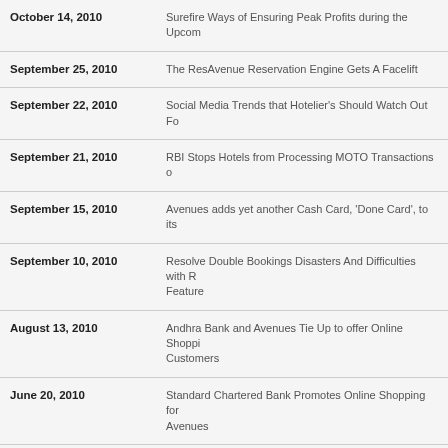October 14, 2010 | Surefire Ways of Ensuring Peak Profits during the Upcom…
September 25, 2010 | The ResAvenue Reservation Engine Gets A Facelift
September 22, 2010 | Social Media Trends that Hotelier's Should Watch Out Fo…
September 21, 2010 | RBI Stops Hotels from Processing MOTO Transactions o…
September 15, 2010 | Avenues adds yet another Cash Card, 'Done Card', to its…
September 10, 2010 | Resolve Double Bookings Disasters And Difficulties with R… Feature
August 13, 2010 | Andhra Bank and Avenues Tie Up to offer Online Shoppi… Customers
June 20, 2010 | Standard Chartered Bank Promotes Online Shopping for… Avenues